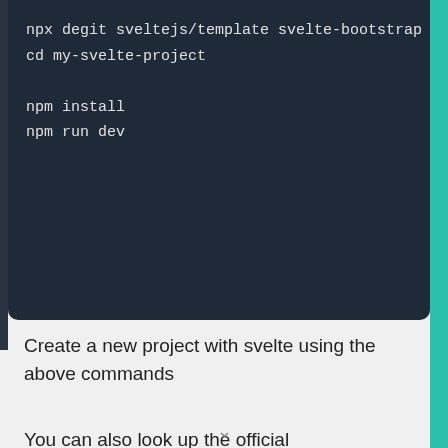[Figure (screenshot): Dark-themed code block showing terminal commands: npx degit sveltejs/template svelte-bootstrap, cd my-svelte-project, npm install, npm run dev]
Create a new project with svelte using the above commands
You can also look up the official documentation for getting started with Svelte - https://svelte.dev/blog/the-easiest-way-to-get-started